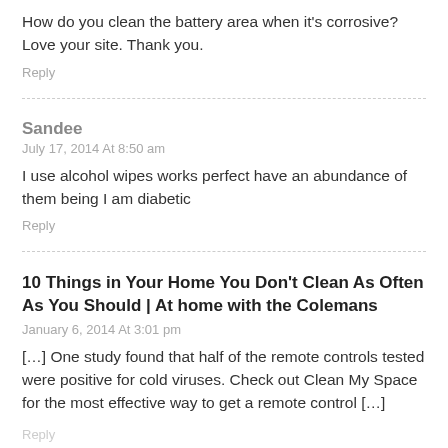How do you clean the battery area when it's corrosive? Love your site. Thank you.
Reply
Sandee
July 17, 2014 At 8:50 am
I use alcohol wipes works perfect have an abundance of them being I am diabetic
Reply
10 Things in Your Home You Don't Clean As Often As You Should | At home with the Colemans
January 6, 2014 At 3:01 pm
[…] One study found that half of the remote controls tested were positive for cold viruses. Check out Clean My Space for the most effective way to get a remote control […]
Reply